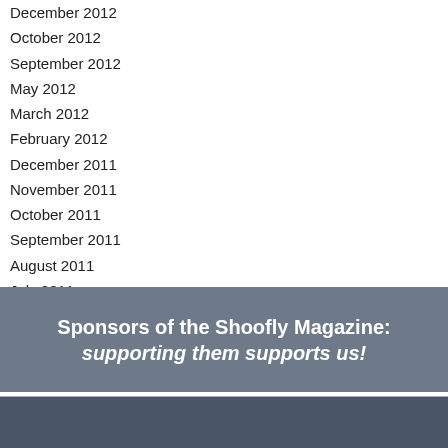December 2012
October 2012
September 2012
May 2012
March 2012
February 2012
December 2011
November 2011
October 2011
September 2011
August 2011
July 2011
June 2011
Sponsors of the Shoofly Magazine: supporting them supports us!
[Figure (other): Dark gray section with a blue bar at the bottom, likely a sponsor advertisement area]